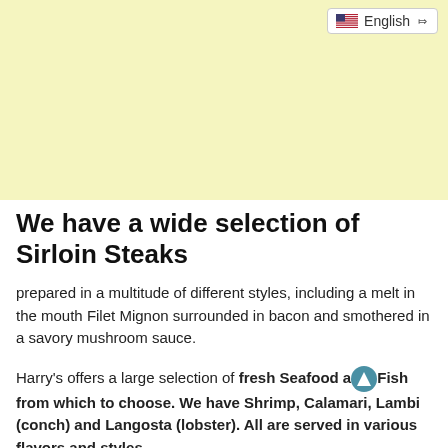[Figure (screenshot): Language selector dropdown showing US flag and 'English' text with chevron, on a yellow/cream banner background]
We have a wide selection of Sirloin Steaks
prepared in a multitude of different styles, including a melt in the mouth Filet Mignon surrounded in bacon and smothered in a savory mushroom sauce.
Harry's offers a large selection of fresh Seafood and Fish from which to choose. We have Shrimp, Calamari, Lambi (conch) and Langosta (lobster). All are served in various flavors and styles.